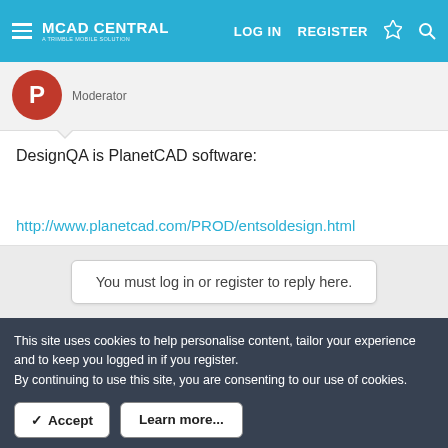MCAD CENTRAL | LOG IN | REGISTER
[Figure (screenshot): User avatar: red circle with letter P, username and Moderator role]
DesignQA is PlanetCAD software:
http://www.planetcad.com/PROD/entsoldesign.html
You must log in or register to reply here.
This site uses cookies to help personalise content, tailor your experience and to keep you logged in if you register.
By continuing to use this site, you are consenting to our use of cookies.
✓ Accept | Learn more...